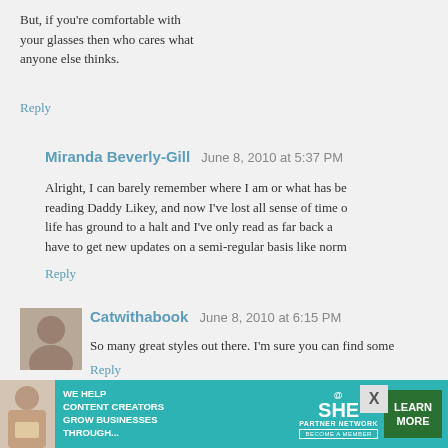But, if you're comfortable with your glasses then who cares what anyone else thinks.
Reply
Miranda Beverly-Gill  June 8, 2010 at 5:37 PM
Alright, I can barely remember where I am or what has been going on since I started reading Daddy Likey, and now I've lost all sense of time or reality. My real life has ground to a halt and I've only read as far back as 2008. I'm going to have to get new updates on a semi-regular basis like normal people.
Reply
Catwithabook  June 8, 2010 at 6:15 PM
So many great styles out there. I'm sure you can find some
Reply
Anonymous  June 8, 2010 at 7:15 PM
I got my first pair of glasses when I was 6, and we h
[Figure (infographic): SHE Partner Network advertisement banner: 'We Help Content Creators Grow Businesses Through...' with Learn More button]